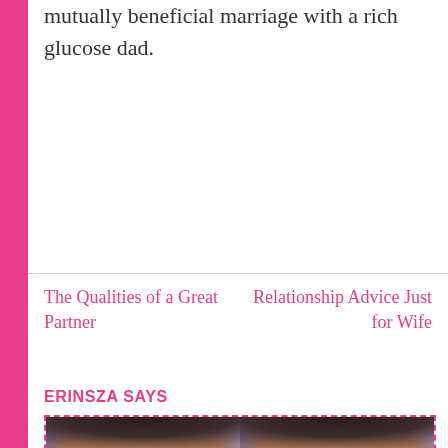mutually beneficial marriage with a rich glucose dad.
The Qualities of a Great Partner
Relationship Advice Just for Wife
ERINSZA SAYS
[Figure (photo): Profile photo of a person wearing glasses, shown twice side by side, close-up face shot]